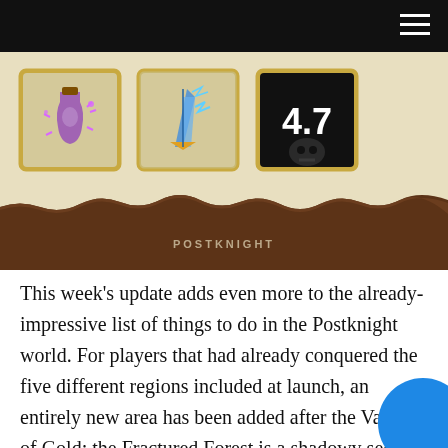[Figure (screenshot): Game screenshot showing Postknight version 4.7 with three card icons: a sword/lightning card, a version number card showing '4.7', and a purple potion card. Below is a wooden plank area with 'POSTKNIGHT' label.]
This week's update adds even more to the already-impressive list of things to do in the Postknight world. For players that had already conquered the five different regions included at launch, an entirely new area has been added after the Valley of Gold: the Fractured Forest is a shadowy section of foreboding woods with a camp set out just outside its entrance. New enemies, like the panther-esc